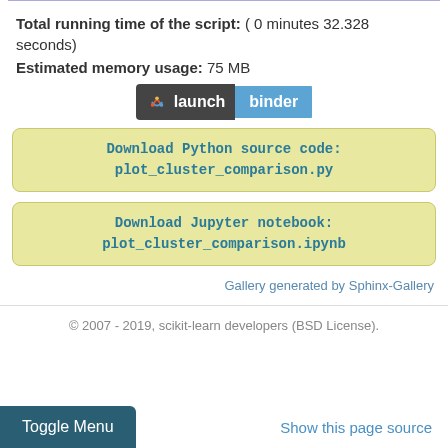Total running time of the script: ( 0 minutes 32.328 seconds)
Estimated memory usage: 75 MB
[Figure (other): Launch binder button with binder logo, dark left panel with 'launch' text and blue right panel with 'binder' text]
Download Python source code: plot_cluster_comparison.py
Download Jupyter notebook: plot_cluster_comparison.ipynb
Gallery generated by Sphinx-Gallery
© 2007 - 2019, scikit-learn developers (BSD License).
Show this page source